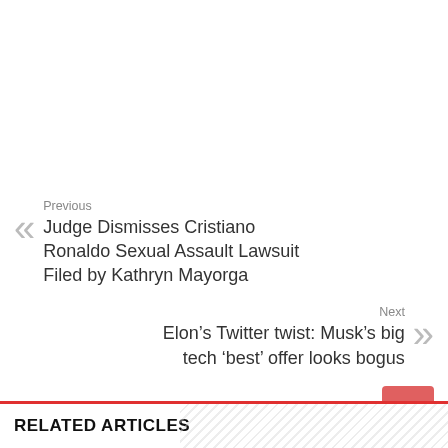Previous
Judge Dismisses Cristiano Ronaldo Sexual Assault Lawsuit Filed by Kathryn Mayorga
Next
Elon’s Twitter twist: Musk’s big tech ‘best’ offer looks bogus
RELATED ARTICLES